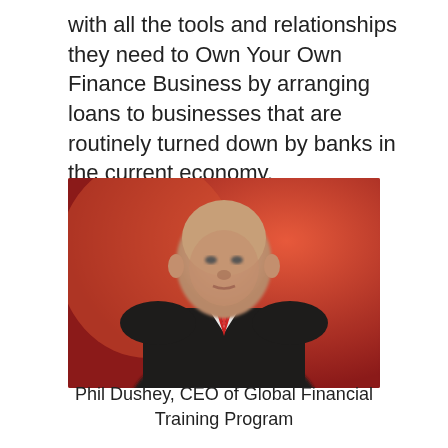with all the tools and relationships they need to Own Your Own Finance Business by arranging loans to businesses that are routinely turned down by banks in the current economy.
[Figure (photo): Photo of Phil Dushey, an older man in a dark suit with a red tie, standing against a red/orange background.]
Phil Dushey, CEO of Global Financial Training Program